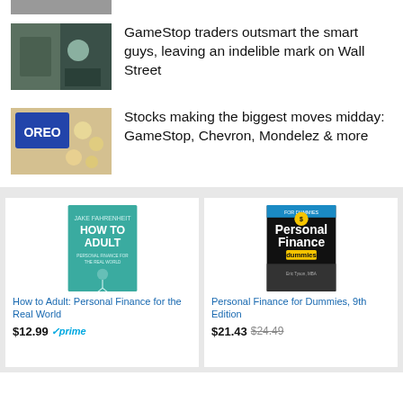[Figure (photo): Partially visible image at top, cropped]
GameStop traders outsmart the smart guys, leaving an indelible mark on Wall Street
[Figure (photo): Oreo cookies and snacks on a tray]
Stocks making the biggest moves midday: GameStop, Chevron, Mondelez & more
[Figure (photo): Book cover: How to Adult: Personal Finance for the Real World]
How to Adult: Personal Finance for the Real World
$12.99 prime
[Figure (photo): Book cover: Personal Finance for Dummies, 9th Edition]
Personal Finance for Dummies, 9th Edition
$21.43 $24.49